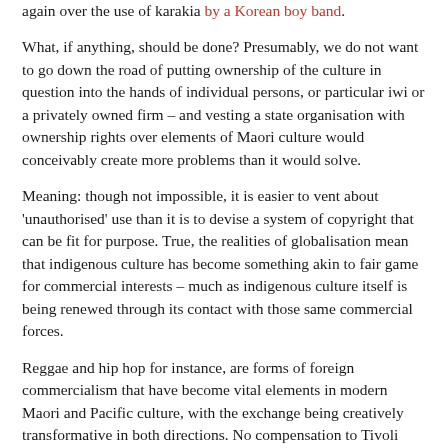again over the use of karakia by a Korean boy band.
What, if anything, should be done? Presumably, we do not want to go down the road of putting ownership of the culture in question into the hands of individual persons, or particular iwi or a privately owned firm – and vesting a state organisation with ownership rights over elements of Maori culture would conceivably create more problems than it would solve.
Meaning: though not impossible, it is easier to vent about 'unauthorised' use than it is to devise a system of copyright that can be fit for purpose. True, the realities of globalisation mean that indigenous culture has become something akin to fair game for commercial interests – much as indigenous culture itself is being renewed through its contact with those same commercial forces.
Reggae and hip hop for instance, are forms of foreign commercialism that have become vital elements in modern Maori and Pacific culture, with the exchange being creatively transformative in both directions. No compensation to Tivoli